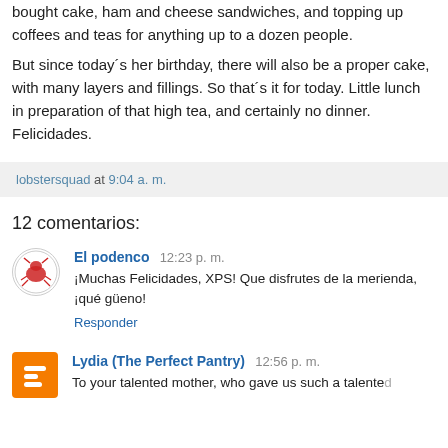bought cake, ham and cheese sandwiches, and topping up coffees and teas for anything up to a dozen people.
But since today´s her birthday, there will also be a proper cake, with many layers and fillings. So that´s it for today. Little lunch in preparation of that high tea, and certainly no dinner. Felicidades.
lobstersquad at 9:04 a. m.
12 comentarios:
El podenco  12:23 p. m.
¡Muchas Felicidades, XPS! Que disfrutes de la merienda, ¡qué güeno!
Responder
Lydia (The Perfect Pantry)  12:56 p. m.
To your talented mother, who gave us such a talented...